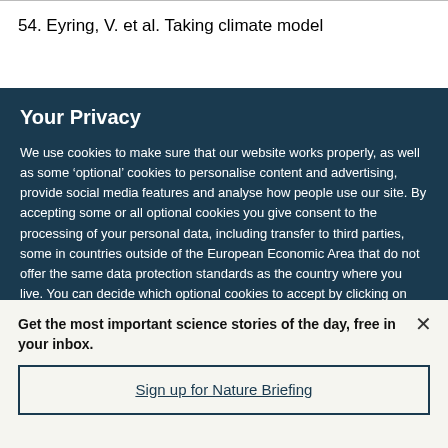54.  Eyring, V. et al. Taking climate model
Your Privacy
We use cookies to make sure that our website works properly, as well as some ‘optional’ cookies to personalise content and advertising, provide social media features and analyse how people use our site. By accepting some or all optional cookies you give consent to the processing of your personal data, including transfer to third parties, some in countries outside of the European Economic Area that do not offer the same data protection standards as the country where you live. You can decide which optional cookies to accept by clicking on ‘Manage Settings’, where you can
Get the most important science stories of the day, free in your inbox.
Sign up for Nature Briefing